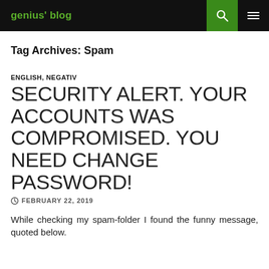genius' blog
Tag Archives: Spam
ENGLISH, NEGATIV
SECURITY ALERT. YOUR ACCOUNTS WAS COMPROMISED. YOU NEED CHANGE PASSWORD!
FEBRUARY 22, 2019
While checking my spam-folder I found the funny message, quoted below.